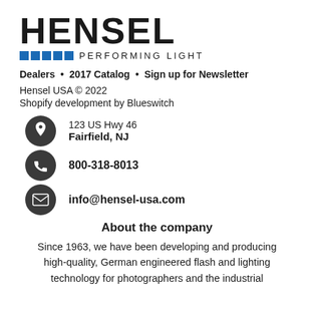[Figure (logo): Hensel Performing Light logo with blue squares and bold black text]
Dealers • 2017 Catalog • Sign up for Newsletter
Hensel USA © 2022
Shopify development by Blueswitch
123 US Hwy 46
Fairfield, NJ
800-318-8013
info@hensel-usa.com
About the company
Since 1963, we have been developing and producing high-quality, German engineered flash and lighting technology for photographers and the industrial